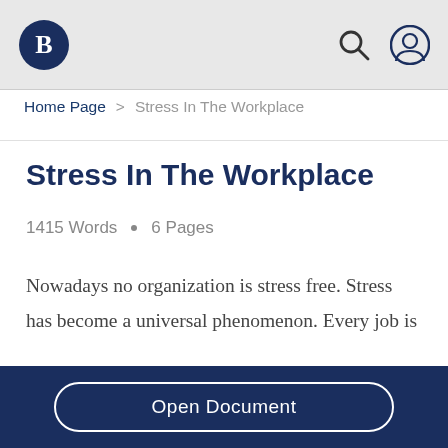Bartleby logo | Search | User icon navigation bar
Home Page > Stress In The Workplace
Stress In The Workplace
1415 Words  •  6 Pages
Nowadays no organization is stress free. Stress has become a universal phenomenon. Every job is
Open Document